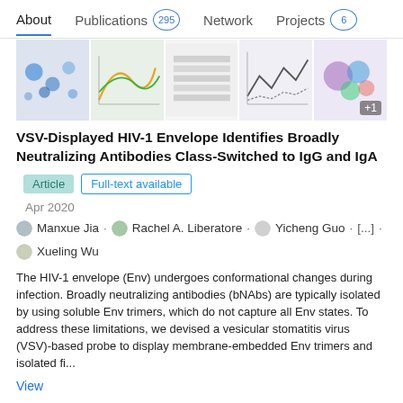About   Publications 295   Network   Projects 6
[Figure (screenshot): Strip of 5 thumbnail images of scientific figures/charts from the paper]
VSV-Displayed HIV-1 Envelope Identifies Broadly Neutralizing Antibodies Class-Switched to IgG and IgA
Article   Full-text available
Apr 2020
Manxue Jia . Rachel A. Liberatore . Yicheng Guo . [...] . Xueling Wu
The HIV-1 envelope (Env) undergoes conformational changes during infection. Broadly neutralizing antibodies (bNAbs) are typically isolated by using soluble Env trimers, which do not capture all Env states. To address these limitations, we devised a vesicular stomatitis virus (VSV)-based probe to display membrane-embedded Env trimers and isolated fi...
View